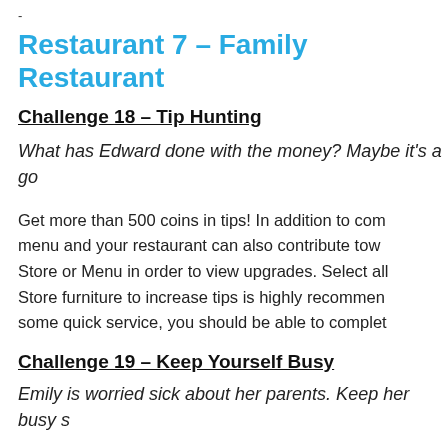-
Restaurant 7 – Family Restaurant
Challenge 18 – Tip Hunting
What has Edward done with the money? Maybe it's a go
Get more than 500 coins in tips! In addition to com menu and your restaurant can also contribute tow Store or Menu in order to view upgrades. Select all Store furniture to increase tips is highly recommen some quick service, you should be able to complet
Challenge 19 – Keep Yourself Busy
Emily is worried sick about her parents. Keep her busy s